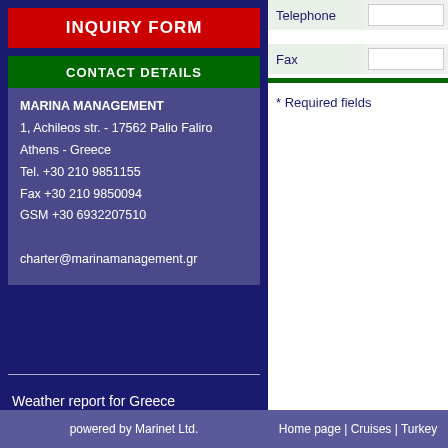INQUIRY FORM
CONTACT DETAILS
MARINA MANAGEMENT
1, Achileos str. - 17562 Palio Faliro
Athens - Greece
Tel. +30 210 9851155
Fax +30 210 9850094
GSM +30 6932207510
charter@marinamanagement.gr
| Field | Value |
| --- | --- |
| Telephone |  |
| Fax |  |
* Required fields
Weather report for Greece
powered by Marinet Ltd.
Home page | Cruises | Turkey